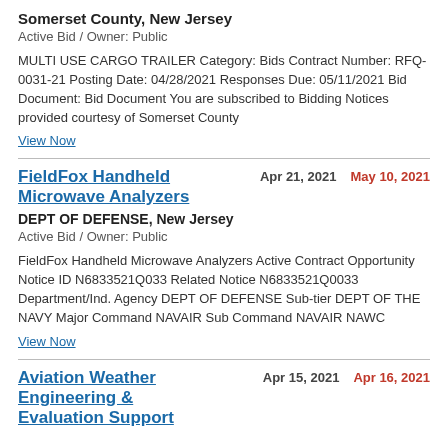Somerset County, New Jersey
Active Bid / Owner: Public
MULTI USE CARGO TRAILER Category: Bids Contract Number: RFQ-0031-21 Posting Date: 04/28/2021 Responses Due: 05/11/2021 Bid Document: Bid Document You are subscribed to Bidding Notices provided courtesy of Somerset County
View Now
FieldFox Handheld Microwave Analyzers
Apr 21, 2021
May 10, 2021
DEPT OF DEFENSE, New Jersey
Active Bid / Owner: Public
FieldFox Handheld Microwave Analyzers Active Contract Opportunity Notice ID N6833521Q033 Related Notice N6833521Q0033 Department/Ind. Agency DEPT OF DEFENSE Sub-tier DEPT OF THE NAVY Major Command NAVAIR Sub Command NAVAIR NAWC
View Now
Aviation Weather Engineering & Evaluation Support
Apr 15, 2021
Apr 16, 2021